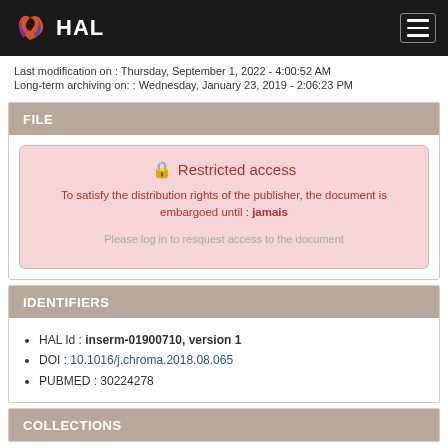HAL
Last modification on : Thursday, September 1, 2022 - 4:00:52 AM
Long-term archiving on: : Wednesday, January 23, 2019 - 2:06:23 PM
FILE
Restricted access
To satisfy the distribution rights of the publisher, the document is embargoed until : jamais
Please log in to resquest access to the document
IDENTIFIERS
HAL Id : inserm-01900710, version 1
DOI : 10.1016/j.chroma.2018.08.065
PUBMED : 30224278
COLLECTIONS